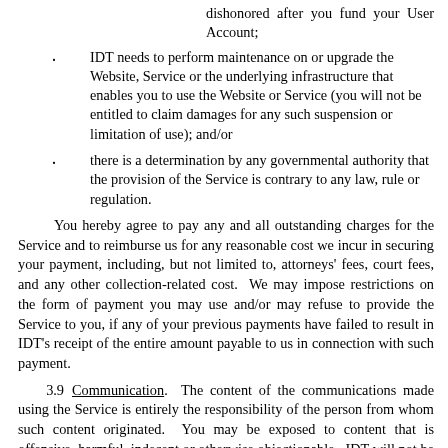dishonored after you fund your User Account;
IDT needs to perform maintenance on or upgrade the Website, Service or the underlying infrastructure that enables you to use the Website or Service (you will not be entitled to claim damages for any such suspension or limitation of use); and/or
there is a determination by any governmental authority that the provision of the Service is contrary to any law, rule or regulation.
You hereby agree to pay any and all outstanding charges for the Service and to reimburse us for any reasonable cost we incur in securing your payment, including, but not limited to, attorneys' fees, court fees, and any other collection-related cost.  We may impose restrictions on the form of payment you may use and/or may refuse to provide the Service to you, if any of your previous payments have failed to result in IDT's receipt of the entire amount payable to us in connection with such payment.
3.9  Communication.  The content of the communications made using the Service is entirely the responsibility of the person from whom such content originated.  You may be exposed to content that is offensive, harmful, indecent or otherwise objectionable.  IDT will not be liable for any type of communication spread by means of the Service.
3.10   No Emergency Calls.  The Service does not and is not